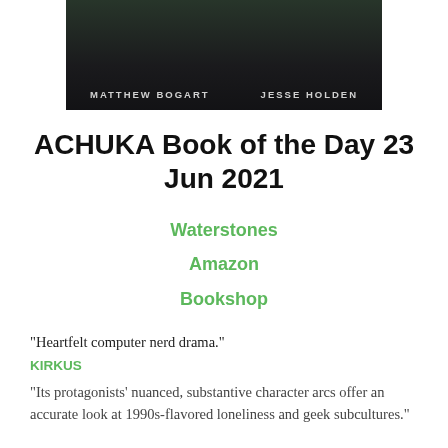[Figure (photo): Book cover image showing a person on a BMX bike at night on a ramp, with author names MATTHEW BOGART and JESSE HOLDEN displayed in white uppercase letters on a dark background]
ACHUKA Book of the Day 23 Jun 2021
Waterstones
Amazon
Bookshop
“Heartfelt computer nerd drama.” KIRKUS “Its protagonists’ nuanced, substantive character arcs offer an accurate look at 1990s-flavored loneliness and geek subcultures.”